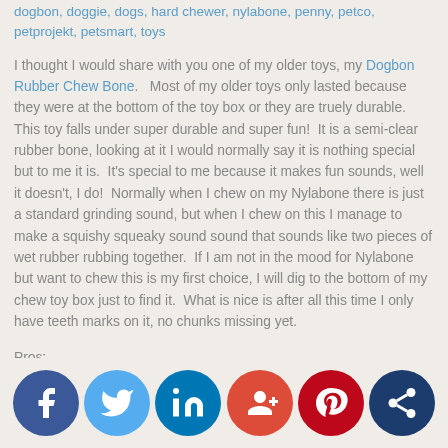dogbon, doggie, dogs, hard chewer, nylabone, penny, petco, petprojekt, petsmart, toys
I thought I would share with you one of my older toys, my Dogbon Rubber Chew Bone. Most of my older toys only lasted because they were at the bottom of the toy box or they are truely durable. This toy falls under super durable and super fun! It is a semi-clear rubber bone, looking at it I would normally say it is nothing special but to me it is. It's special to me because it makes fun sounds, well it doesn't, I do! Normally when I chew on my Nylabone there is just a standard grinding sound, but when I chew on this I manage to make a squishy squeaky sound sound that sounds like two pieces of wet rubber rubbing together. If I am not in the mood for Nylabone but want to chew this is my first choice, I will dig to the bottom of my chew toy box just to find it. What is nice is after all this time I only have teeth marks on it, no chunks missing yet.
Pros:
Durable
Fun Colors
More give than a Nylabone, but has taken more bites